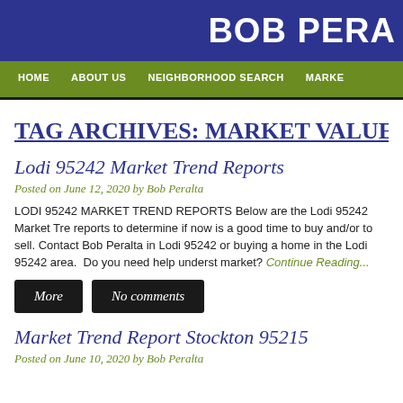BOB PERA
HOME   ABOUT US   NEIGHBORHOOD SEARCH   MARKE
TAG ARCHIVES: MARKET VALUE
Lodi 95242 Market Trend Reports
Posted on June 12, 2020 by Bob Peralta
LODI 95242 MARKET TREND REPORTS Below are the Lodi 95242 Market Trend reports to determine if now is a good time to buy and/or to sell. Contact Bob Peralta in Lodi 95242 or buying a home in the Lodi 95242 area.  Do you need help understanding the market? Continue Reading...
More
No comments
Market Trend Report Stockton 95215
Posted on June 10, 2020 by Bob Peralta